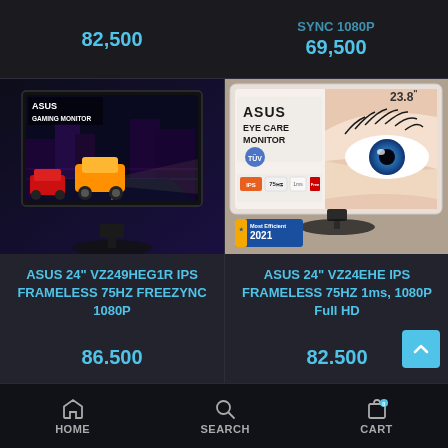82,500
SYNC 1080P
69,500
[Figure (photo): ASUS Gaming Monitor showing racing game on screen, dark background]
[Figure (photo): ASUS Eye Care Monitor 23.8 inch showing close-up eye, with IPS 75Hz FreeSync badges and Most Efficient 2021 label]
ASUS 24" VZ249HEG1R IPS FRAMELESS 75HZ FREEZYNC 1080P
ASUS 24" VZ24EHE IPS FRAMELESS 75HZ 1ms, 1080P Full HD
86.500
82.500
HOME   SEARCH   CART